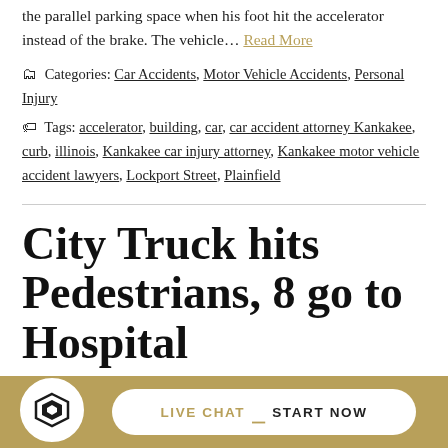the parallel parking space when his foot hit the accelerator instead of the brake. The vehicle… Read More
Categories: Car Accidents, Motor Vehicle Accidents, Personal Injury
Tags: accelerator, building, car, car accident attorney Kankakee, curb, illinois, Kankakee car injury attorney, Kankakee motor vehicle accident lawyers, Lockport Street, Plainfield
City Truck hits Pedestrians, 8 go to Hospital